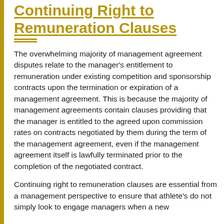Continuing Right to Remuneration Clauses
The overwhelming majority of management agreement disputes relate to the manager's entitlement to remuneration under existing competition and sponsorship contracts upon the termination or expiration of a management agreement. This is because the majority of management agreements contain clauses providing that the manager is entitled to the agreed upon commission rates on contracts negotiated by them during the term of the management agreement, even if the management agreement itself is lawfully terminated prior to the completion of the negotiated contract.
Continuing right to remuneration clauses are essential from a management perspective to ensure that athlete's do not simply look to engage managers when a new